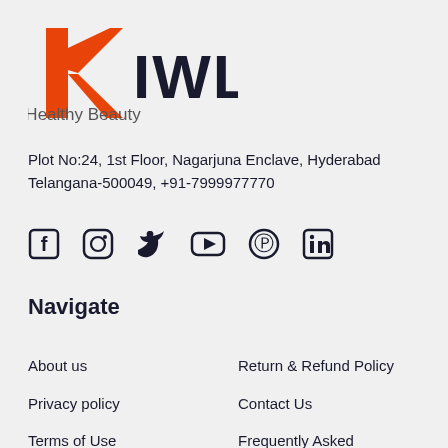[Figure (logo): Kiwla Healthy Beauty logo with orange stylized K icon and dark blue KIWLA text with Healthy Beauty tagline]
Plot No:24, 1st Floor, Nagarjuna Enclave, Hyderabad
Telangana-500049, +91-7999977770
[Figure (infographic): Row of 6 social media icons: Facebook, Instagram, Twitter, YouTube, Pinterest, LinkedIn]
Navigate
About us
Return & Refund Policy
Privacy policy
Contact Us
Terms of Use
Frequently Asked Questions
Shipping Policy